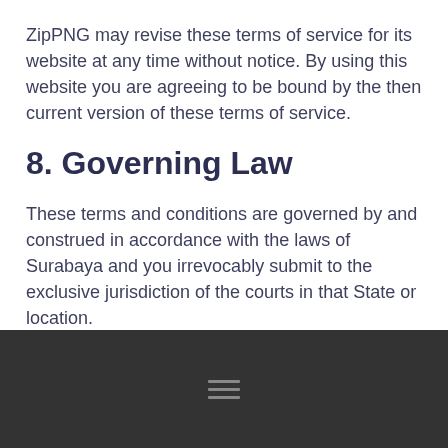ZipPNG may revise these terms of service for its website at any time without notice. By using this website you are agreeing to be bound by the then current version of these terms of service.
8. Governing Law
These terms and conditions are governed by and construed in accordance with the laws of Surabaya and you irrevocably submit to the exclusive jurisdiction of the courts in that State or location.